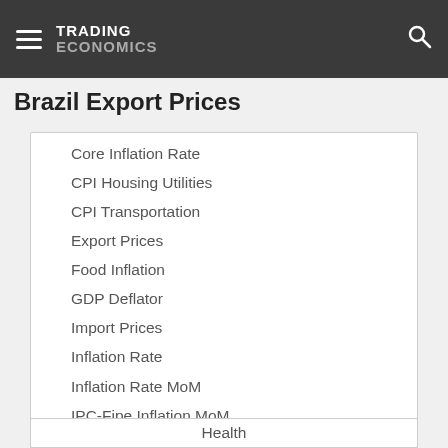TRADING ECONOMICS
Brazil Export Prices
Core Inflation Rate
CPI Housing Utilities
CPI Transportation
Export Prices
Food Inflation
GDP Deflator
Import Prices
Inflation Rate
Inflation Rate MoM
IPC-Fipe Inflation MoM
Mid-Month Inflation Rate MoM
Mid-Month Inflation Rate YoY
Producer Price Inflation MoM
Producer Prices
Producer Prices Change
Health